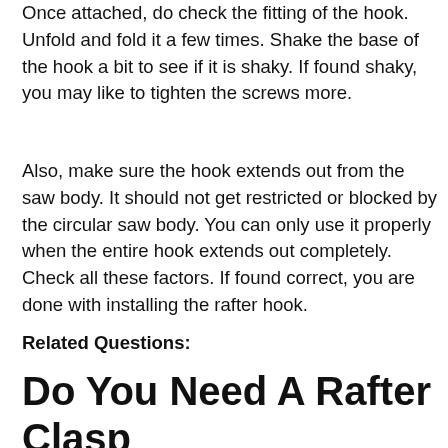Once attached, do check the fitting of the hook. Unfold and fold it a few times. Shake the base of the hook a bit to see if it is shaky. If found shaky, you may like to tighten the screws more.
Also, make sure the hook extends out from the saw body. It should not get restricted or blocked by the circular saw body. You can only use it properly when the entire hook extends out completely. Check all these factors. If found correct, you are done with installing the rafter hook.
Related Questions:
Do You Need A Rafter Clasp For Your Circular Saw?